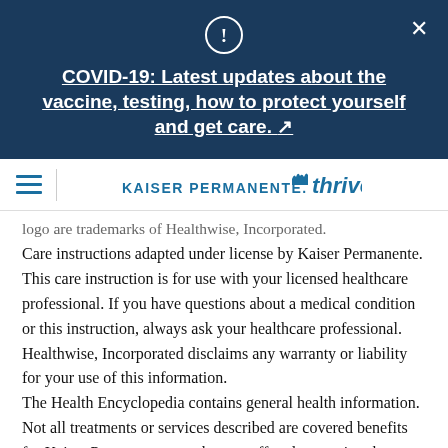COVID-19: Latest updates about the vaccine, testing, how to protect yourself and get care. ↗
[Figure (logo): Kaiser Permanente Thrive logo]
logo are trademarks of Healthwise, Incorporated. Care instructions adapted under license by Kaiser Permanente. This care instruction is for use with your licensed healthcare professional. If you have questions about a medical condition or this instruction, always ask your healthcare professional. Healthwise, Incorporated disclaims any warranty or liability for your use of this information.
The Health Encyclopedia contains general health information. Not all treatments or services described are covered benefits for Kaiser Permanente members or offered as services by Kaiser Permanente. For a list of